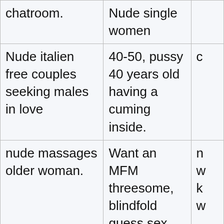| chatroom. | Nude single women |  |
| Nude italien free couples seeking males in love | 40-50, pussy 40 years old having a cuming inside. | c |
| nude massages older woman. | Want an MFM threesome, blindfold guess sex partner right one if very dark | n
w
k
w |